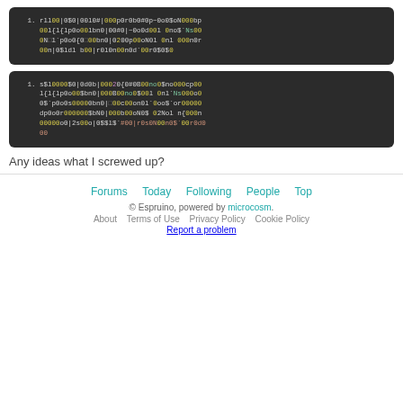[Figure (screenshot): Dark-themed code block 1 with syntax-highlighted obfuscated code, line numbered starting at 1]
[Figure (screenshot): Dark-themed code block 2 with syntax-highlighted obfuscated code, line numbered starting at 1]
Any ideas what I screwed up?
Forums  Today  Following  People  Top
© Espruino, powered by microcosm.
About  Terms of Use  Privacy Policy  Cookie Policy
Report a problem